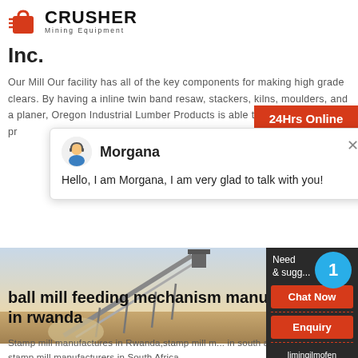[Figure (logo): Crusher Mining Equipment logo with red shopping bag icon and bold CRUSHER text]
Inc.
Our Mill Our facility has all of the key components for making high grade clears. By having a inline twin band resaw, stackers, kilns, moulders, and a planer, Oregon Industrial Lumber Products is able to control the entire pr...
[Figure (screenshot): 24Hrs Online red bar and chat popup with Morgana agent saying Hello, I am Morgana, I am very glad to talk with you!]
[Figure (photo): Mining conveyor structure against sky]
ball mill feeding mechanism manu... in rwanda
Stamp mill manufactures in Rwanda,stamp mill m... in south africa gold stamp mill manufacturers in South Africa